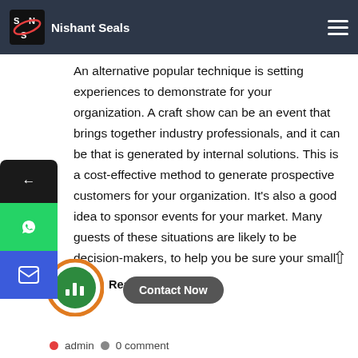Nishant Seals
An alternative popular technique is setting experiences to demonstrate for your organization. A craft show can be an event that brings together industry professionals, and it can be that is generated by internal solutions. This is a cost-effective method to generate prospective customers for your organization. It’s also a good idea to sponsor events for your market. Many guests of these situations are likely to be decision-makers, to help you be sure your small business will get a significant audience.
Read More ›
Contact Now
admin   0 comment